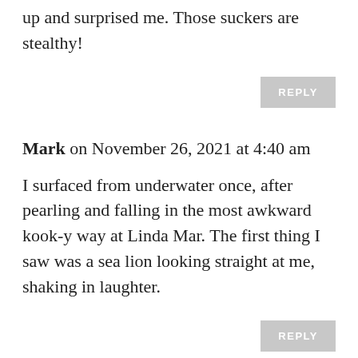up and surprised me. Those suckers are stealthy!
REPLY
Mark on November 26, 2021 at 4:40 am
I surfaced from underwater once, after pearling and falling in the most awkward kook-y way at Linda Mar. The first thing I saw was a sea lion looking straight at me, shaking in laughter.
REPLY